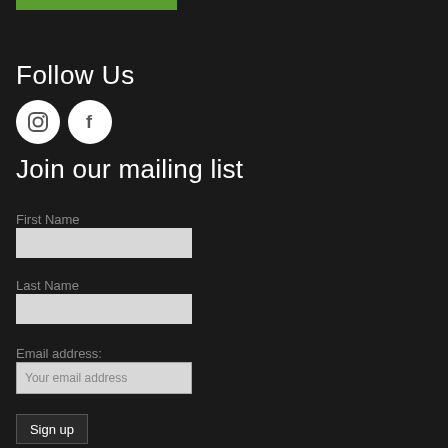[Figure (other): Green bar at top of page]
Follow Us
[Figure (other): Social media icons: Instagram circle icon and Facebook circle icon]
Join our mailing list
First Name
[Figure (other): First Name input text field (empty, light gray background)]
Last Name
[Figure (other): Last Name input text field (empty, light gray background)]
Email address:
[Figure (other): Email address input text field with placeholder text 'Your email address']
[Figure (other): Sign up button]